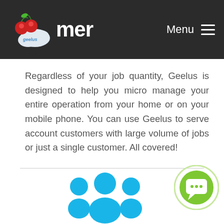accounts of a single customer — Menu ☰
Regardless of your job quantity, Geelus is designed to help you micro manage your entire operation from your home or on your mobile phone. You can use Geelus to serve account customers with large volume of jobs or just a single customer. All covered!
[Figure (illustration): Cyan/blue group of people icon at the bottom of the page]
[Figure (illustration): Green circular chat/message button with speech bubble icon on the right side]